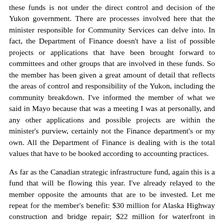these funds is not under the direct control and decision of the Yukon government. There are processes involved here that the minister responsible for Community Services can delve into. In fact, the Department of Finance doesn't have a list of possible projects or applications that have been brought forward to committees and other groups that are involved in these funds. So the member has been given a great amount of detail that reflects the areas of control and responsibility of the Yukon, including the community breakdown. I've informed the member of what we said in Mayo because that was a meeting I was at personally, and any other applications and possible projects are within the minister's purview, certainly not the Finance department's or my own. All the Department of Finance is dealing with is the total values that have to be booked according to accounting practices.
As far as the Canadian strategic infrastructure fund, again this is a fund that will be flowing this year. I've already relayed to the member opposite the amounts that are to be invested. Let me repeat for the member's benefit: $30 million for Alaska Highway construction and bridge repair; $22 million for waterfront in Carcross and Whitehorse; and we anticipate there will be another $28 million for sewage treatment in Dawson, and water and sewage in Carmacks. That's the information that I have in general debate. Any further detail or information the member may want or seek or require has to be done with the minister responsible for the